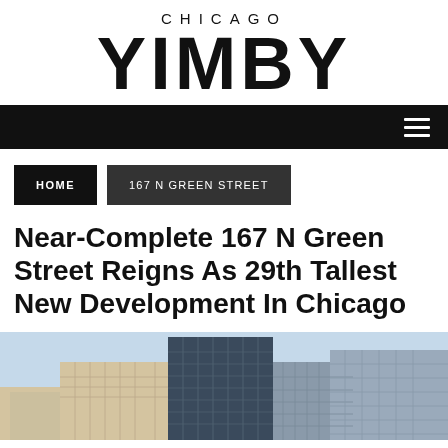CHICAGO YIMBY
[Figure (screenshot): Navigation bar with hamburger menu icon on black background]
HOME | 167 N GREEN STREET
Near-Complete 167 N Green Street Reigns As 29th Tallest New Development In Chicago
[Figure (photo): Architectural rendering or photograph of a near-complete modern high-rise building at 167 N Green Street in Chicago, showing glass and steel construction against a blue sky with surrounding buildings visible]